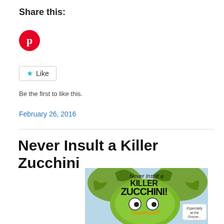Share this:
[Figure (logo): Pinterest circular red button with white P icon]
[Figure (other): Like button with teal star icon]
Be the first to like this.
February 26, 2016
Never Insult a Killer Zucchini
[Figure (illustration): Book cover illustration for 'Never Insult a Killer Zucchini!' showing a cartoon zucchini character with googly eyes and mustache, surrounded by green leaves, with a small pig character in the corner saying 'Especially at the...']